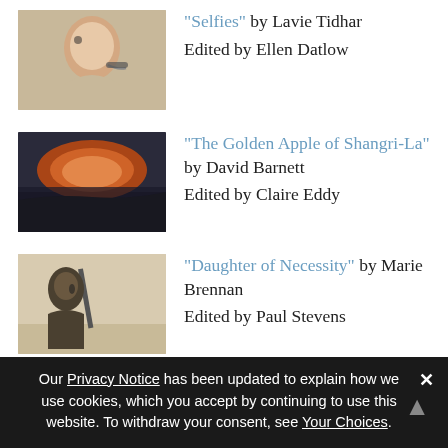"Selfies" by Lavie Tidhar
Edited by Ellen Datlow
"The Golden Apple of Shangri-La" by David Barnett
Edited by Claire Eddy
"Daughter of Necessity" by Marie Brennan
Edited by Paul Stevens
"Mrs. Sorensen and the Sasquatch" by Kelly Barnhill
Edited by Ann VanderMeer
Our Privacy Notice has been updated to explain how we use cookies, which you accept by continuing to use this website. To withdraw your consent, see Your Choices.